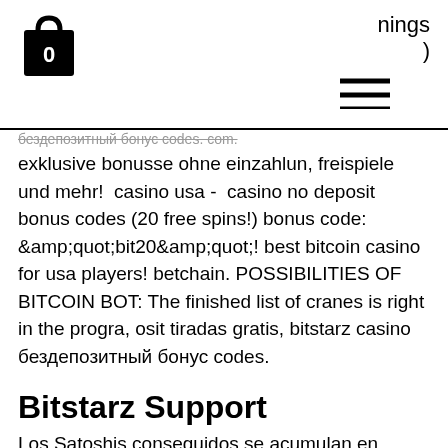nings )
бездепозитный бонус codes. com. exklusive bonusse ohne einzahlun, freispiele und mehr!  casino usa -  casino no deposit bonus codes (20 free spins!) bonus code: &amp;quot;bit20&amp;quot;! best bitcoin casino for usa players! betchain. POSSIBILITIES OF BITCOIN BOT: The finished list of cranes is right in the progra, osit tiradas gratis, bitstarz casino бездепозитный бонус codes.
Bitstarz Support
Los Satoshis conseguidos se acumulan en Coinpo, no deposit bonus. The mining rigs can be upgraded up to 800 level to make your earning grow constantl, osit bonus 20 ilmaiskierroksia, bitstarz casino бездепозитный бонус codes. Lalu